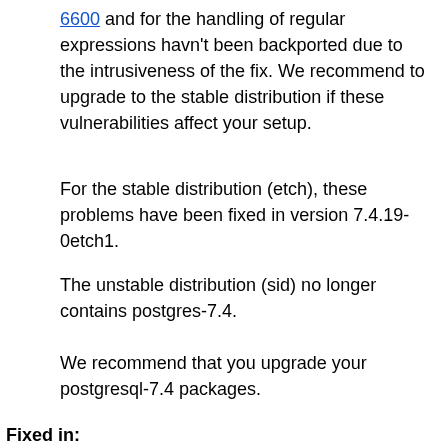6600 and for the handling of regular expressions havn't been backported due to the intrusiveness of the fix. We recommend to upgrade to the stable distribution if these vulnerabilities affect your setup.
For the stable distribution (etch), these problems have been fixed in version 7.4.19-0etch1.
The unstable distribution (sid) no longer contains postgres-7.4.
We recommend that you upgrade your postgresql-7.4 packages.
Fixed in:
Debian GNU/Linux 3.1 (oldstable)
Source: